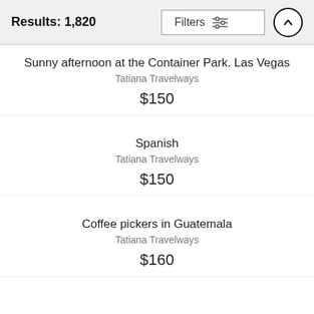Results: 1,820
Filters
Sunny afternoon at the Container Park. Las Vegas
Tatiana Travelways
$150
Spanish
Tatiana Travelways
$150
Coffee pickers in Guatemala
Tatiana Travelways
$160